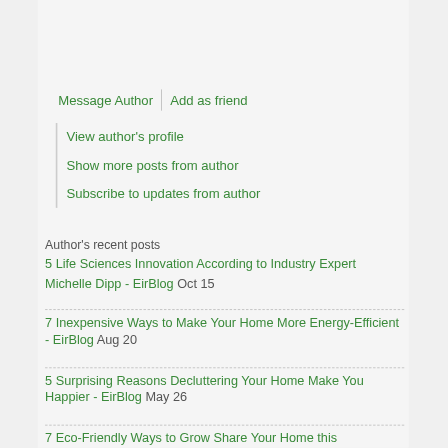Message Author
Add as friend
View author's profile
Show more posts from author
Subscribe to updates from author
Author's recent posts
5 Life Sciences Innovation According to Industry Expert
Michelle Dipp - EirBlog Oct 15
7 Inexpensive Ways to Make Your Home More Energy-Efficient - EirBlog Aug 20
5 Surprising Reasons Decluttering Your Home Make You Happier - EirBlog May 26
7 Eco-Friendly Ways to...